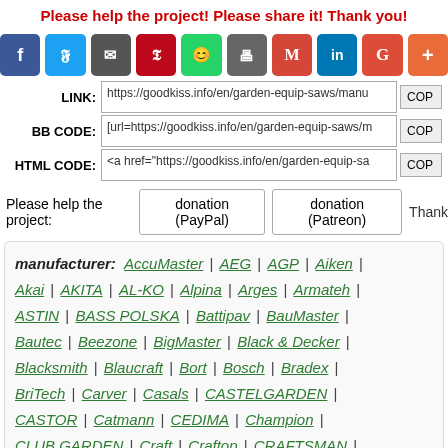Please help the project! Please share it! Thank you!
[Figure (infographic): Row of social sharing icon buttons: Facebook, Twitter, Email, Pinterest, WhatsApp, Print, Gmail, LinkedIn, Google, More]
LINK: https://goodkiss.info/en/garden-equip-saws/manu... COP
BB CODE: [url=https://goodkiss.info/en/garden-equip-saws/m... COP
HTML CODE: <a href="https://goodkiss.info/en/garden-equip-sa... COP
Please help the project: donation (PayPal) donation (Patreon) Thank
manufacturer: AccuMaster | AEG | AGP | Aiken | Akai | AKITA | AL-KO | Alpina | Arges | Armateh | ASTIN | BASS POLSKA | Battipav | BauMaster | Bautec | Beezone | BigMaster | Black & Decker | Blacksmith | Blaucraft | Bort | Bosch | Bradex | BriTech | Carver | Casals | CASTELGARDEN | CASTOR | Catmann | CEDIMA | Champion | CLUB GARDEN | Craft | Craftop | CRAFTSMAN | Crosser | Cub Cadet | Daewoo Power Products | DDE | Defiant | DeFort | DELTA | DENZEL | Detex |